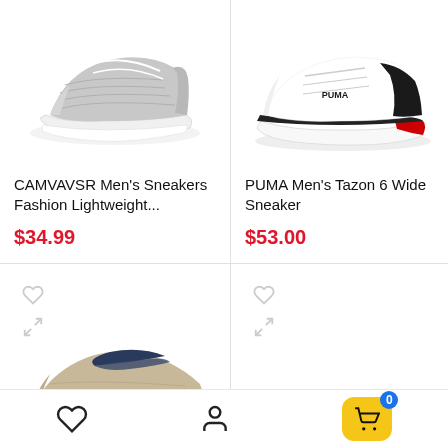[Figure (photo): Gray knit lightweight sneaker on white background]
[Figure (photo): PUMA white and black athletic sneaker with red sole accent]
CAMVAVSR Men's Sneakers Fashion Lightweight...
PUMA Men's Tazon 6 Wide Sneaker
$34.99
$53.00
[Figure (photo): Beige canvas slip-on loafer shoe with white sole]
[Figure (photo): Empty product image area with wishlist and compare icons]